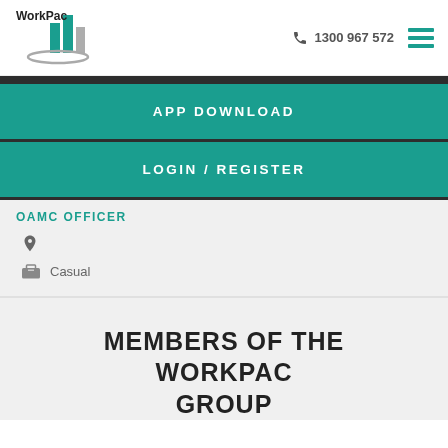[Figure (logo): WorkPac logo with teal building icon and grey swoosh]
1300 967 572
APP DOWNLOAD
LOGIN / REGISTER
OAMC OFFICER
Casual
MEMBERS OF THE WORKPAC GROUP